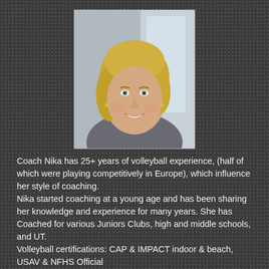[Figure (photo): Headshot of Coach Nika, a blonde woman smiling, photographed against a blurred indoor background]
Coach Nika has 25+ years of volleyball experience, (half of which were playing competitively in Europe), which influence her style of coaching.
Nika started coaching at a young age and has been sharing her knowledge and experience for many years. She has Coached for various Juniors Clubs, high and middle schools, and UT.
Volleyball certifications: CAP & IMPACT indoor & beach, USAV & NFHS Official